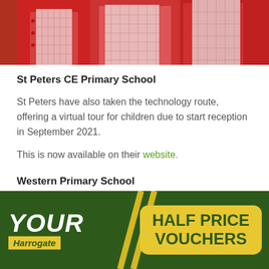[Figure (photo): Children wearing red school uniforms/cardigans, cropped to show torsos]
St Peters CE Primary School
St Peters have also taken the technology route, offering a virtual tour for children due to start reception in September 2021.
This is now available on their website.
Western Primary School
This year Western Primary are offering tours of
[Figure (logo): YOUR Harrogate logo with Half Price Vouchers banner on dark green background]